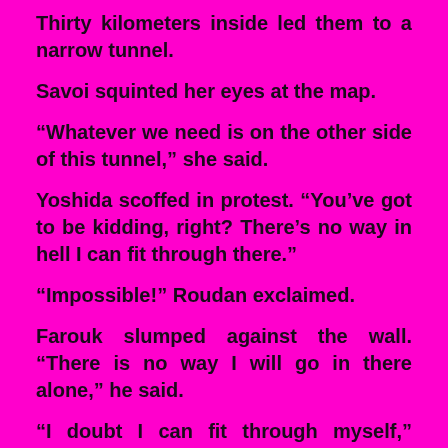Thirty kilometers inside led them to a narrow tunnel.
Savoi squinted her eyes at the map.
“Whatever we need is on the other side of this tunnel,” she said.
Yoshida scoffed in protest. “You’ve got to be kidding, right? There’s no way in hell I can fit through there.”
“Impossible!” Roudan exclaimed.
Farouk slumped against the wall. “There is no way I will go in there alone,” he said.
“I doubt I can fit through myself,” Savoi